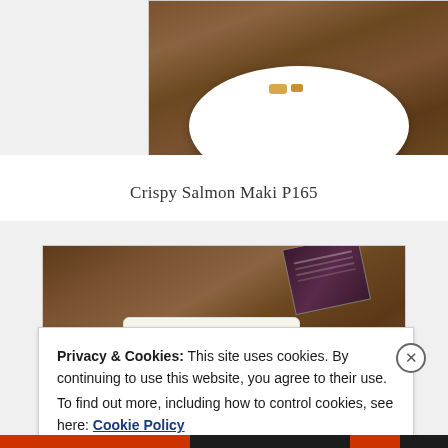[Figure (photo): Top portion of a photo showing a white plate with food on a wooden table background, partially cropped]
Crispy Salmon Maki P165
[Figure (photo): Photo of food on a white square plate on a wooden table, with a menu card visible in the upper right corner]
Privacy & Cookies: This site uses cookies. By continuing to use this website, you agree to their use.
To find out more, including how to control cookies, see here: Cookie Policy
Close and accept